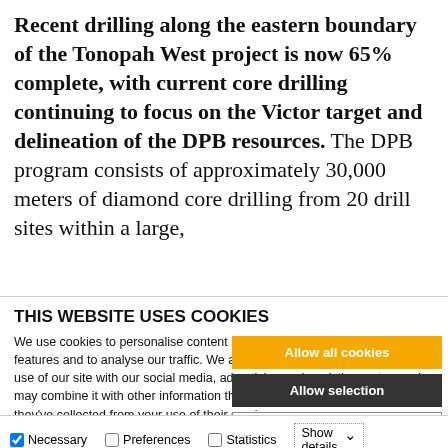Recent drilling along the eastern boundary of the Tonopah West project is now 65% complete, with current core drilling continuing to focus on the Victor target and delineation of the DPB resources. The DPB program consists of approximately 30,000 meters of diamond core drilling from 20 drill sites within a large,
THIS WEBSITE USES COOKIES
We use cookies to personalise content and ads, to provide social media features and to analyse our traffic. We also share information about your use of our site with our social media, advertising and analytics partners who may combine it with other information that you've provided to them or that they've collected from your use of their services.